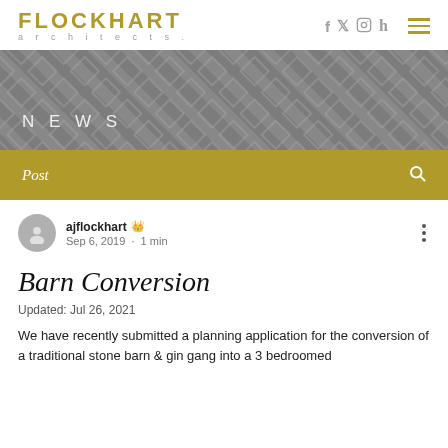FLOCKHART architects
[Figure (photo): Greyscale architectural texture banner with 'NEWS' text overlay]
Post
ajflockhart   Sep 6, 2019  ·  1 min
Barn Conversion
Updated: Jul 26, 2021
We have recently submitted a planning application for the conversion of a traditional stone barn & gin gang into a 3 bedroomed